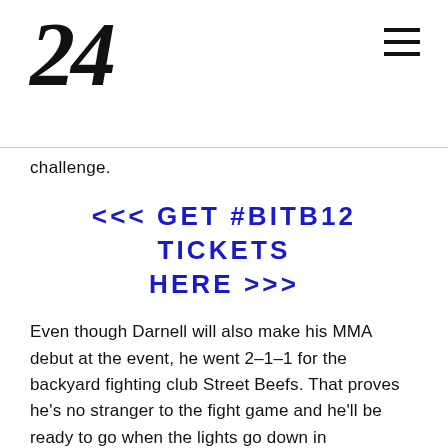24
challenge.
<<< GET #BITB12 TICKETS HERE >>>
Even though Darnell will also make his MMA debut at the event, he went 2–1–1 for the backyard fighting club Street Beefs. That proves he's no stranger to the fight game and he'll be ready to go when the lights go down in Washington.
Believe us when we say: Darnell doesn't sound worried about Welsh's wrestling. And that makes this a fight you simply cannot miss.